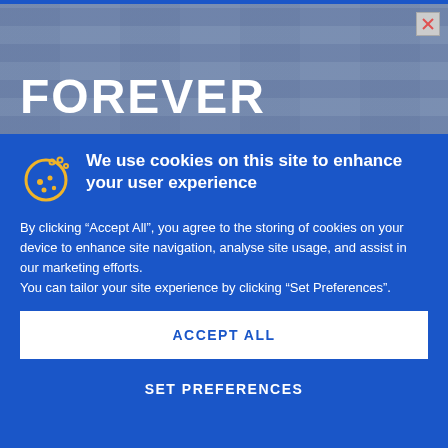[Figure (photo): Advertisement banner showing the word FOREVER in large bold white text over a blue brick wall texture background, with a close button (X) in the top right corner.]
We use cookies on this site to enhance your user experience
By clicking “Accept All”, you agree to the storing of cookies on your device to enhance site navigation, analyse site usage, and assist in our marketing efforts.
You can tailor your site experience by clicking “Set Preferences”.
ACCEPT ALL
SET PREFERENCES